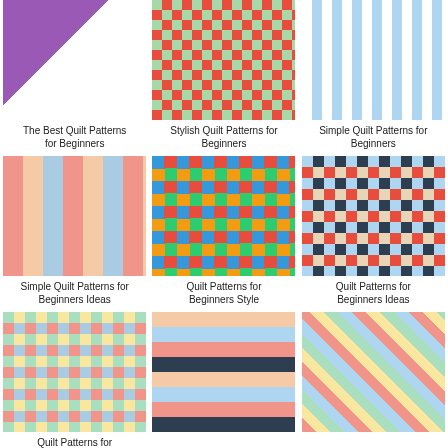[Figure (photo): Quilt with purple square pattern on white background]
The Best Quilt Patterns for Beginners
[Figure (photo): Stylish patchwork quilt with colorful cross/plus shapes on floral background]
Stylish Quilt Patterns for Beginners
[Figure (photo): Simple blue and white gingham/check pattern quilt]
Simple Quilt Patterns for Beginners
[Figure (photo): Striped fabric pieces in pink, peach, and light colors laid out]
Simple Quilt Patterns for Beginners Ideas
[Figure (photo): Colorful quilt with applique animal and nature motifs on bright squares]
Quilt Patterns for Beginners Style
[Figure (photo): Patchwork quilt with navy, red, white and blue squares on wood table]
Quilt Patterns for Beginners Ideas
[Figure (photo): Colorful patchwork quilt with bright multicolored squares on orange backing]
Quilt Patterns for Beginners
[Figure (photo): Pink, gray and blue brick/stacked pattern quilt]
[Figure (photo): Modern herringbone/arrow pattern quilt in soft colors]